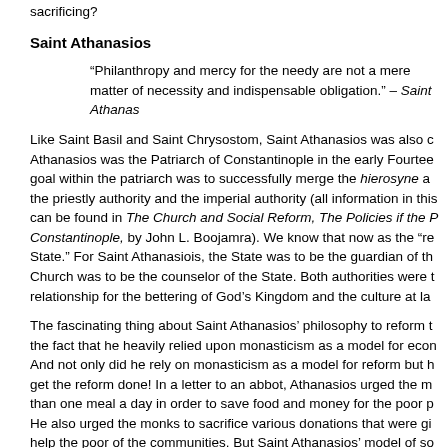sacrificing?
Saint Athanasios
“Philanthropy and mercy for the needy are not a mere matter of necessity and indispensable obligation.” – Saint Athanas…
Like Saint Basil and Saint Chrysostom, Saint Athanasios was also c… Athanasios was the Patriarch of Constantinople in the early Fourtee… goal within the patriarch was to successfully merge the hierosyne a… the priestly authority and the imperial authority (all information in thi… can be found in The Church and Social Reform, The Policies if the P… Constantinople, by John L. Boojamra). We know that now as the “re… State.” For Saint Athanasiois, the State was to be the guardian of th… Church was to be the counselor of the State. Both authorities were t… relationship for the bettering of God’s Kingdom and the culture at la…
The fascinating thing about Saint Athanasios’ philosophy to reform t… the fact that he heavily relied upon monasticism as a model for econ… And not only did he rely on monasticism as a model for reform but h… get the reform done! In a letter to an abbot, Athanasios urged the m… than one meal a day in order to save food and money for the poor p… He also urged the monks to sacrifice various donations that were gi… help the poor of the communities. But Saint Athanasios’ model of so… getting the monastics to work harder and sacrifice more, rather his m…